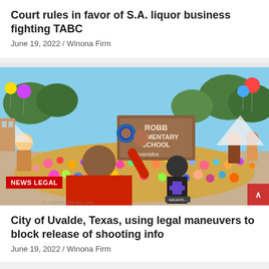Court rules in favor of S.A. liquor business fighting TABC
June 19, 2022 / Winona Firm
[Figure (photo): People gathered at a memorial outside Robb Elementary School in Uvalde, Texas, with flowers, balloons, and tributes covering the area. A sign reads 'ROBB ELEMENTARY SCHOOL Bienvenidos'. A man in a red shirt raises his hand, others in motorcycle club vests stand nearby.]
NEWS LEGAL
City of Uvalde, Texas, using legal maneuvers to block release of shooting info
June 19, 2022 / Winona Firm